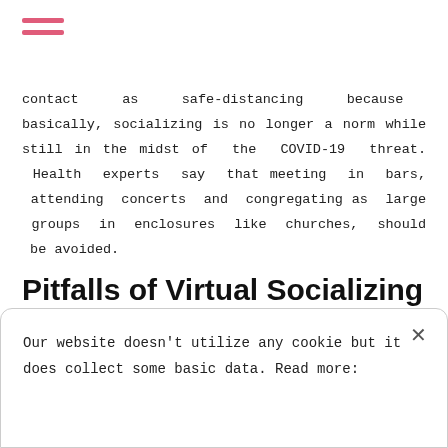[Figure (other): Pink hamburger menu icon with two horizontal bars]
contact as safe-distancing because basically, socializing is no longer a norm while still in the midst of the COVID-19 threat. Health experts say that meeting in bars, attending concerts and congregating as large groups in enclosures like churches, should be avoided.
Pitfalls of Virtual Socializing and the Need to Be Creative
Generally, face-to-face interactions in public venues
Our website doesn't utilize any cookie but it does collect some basic data. Read more: